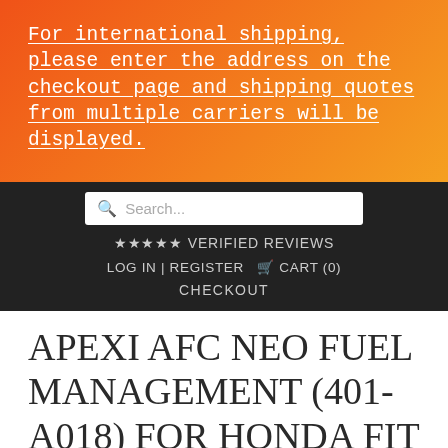For international shipping, please enter the address on the checkout page and shipping quotes from multiple carriers will be displayed.
[Figure (screenshot): Search bar with placeholder text 'Search...' and a magnifying glass icon]
★★★★★ VERIFIED REVIEWS
LOG IN | REGISTER  🛒 CART (0)
CHECKOUT
APEXI AFC NEO FUEL MANAGEMENT (401-A018) FOR HONDA FIT